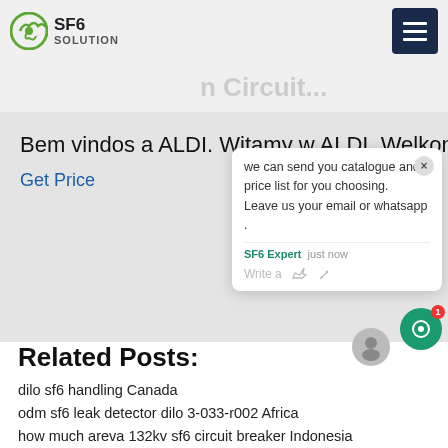SF6 SOLUTION
Bem vindos a ALDI. Witamy w ALDI. Welkom bij ALDI
Get Price
we can send you catalogue and price list for you choosing. Leave us your email or whatsapp .
SF6 Expert   just now
Write a
Related Posts:
dilo sf6 handling Canada
odm sf6 leak detector dilo 3-033-r002 Africa
how much areva 132kv sf6 circuit breaker Indonesia
next generation sf6 is a gas Africa
500kv 11kv sf6 switchgear Colombia